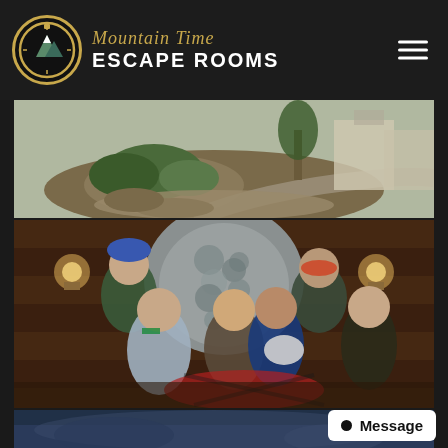[Figure (logo): Mountain Time Escape Rooms logo with golden stopwatch/compass circle icon, italic golden 'Mountain Time' text and white bold 'ESCAPE ROOMS' text]
[Figure (photo): Outdoor daytime photo of what appears to be a resort or commercial area with landscaping, shrubs, stone pathway, and buildings in background]
[Figure (photo): Group photo of approximately 8 people posing in front of a stone fireplace in a wood-paneled cabin-style room. One person wears a blue helmet, another holds a small dog. One person holds a green sign. People are smiling and laughing. Warm wall sconce lighting on either side.]
[Figure (photo): Partial bottom photo, appears to be another venue or outdoor scene, partially cropped]